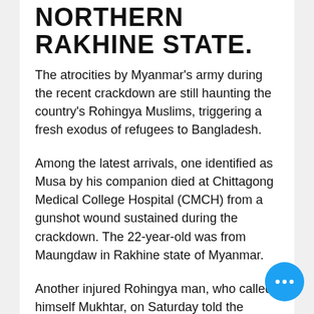NORTHERN RAKHINE STATE.
The atrocities by Myanmar's army during the recent crackdown are still haunting the country's Rohingya Muslims, triggering a fresh exodus of refugees to Bangladesh.
Among the latest arrivals, one identified as Musa by his companion died at Chittagong Medical College Hospital (CMCH) from a gunshot wound sustained during the crackdown. The 22-year-old was from Maungdaw in Rakhine state of Myanmar.
Another injured Rohingya man, who called himself Mukhtar, on Saturday told the Dhaka Tribune that he, Musa and